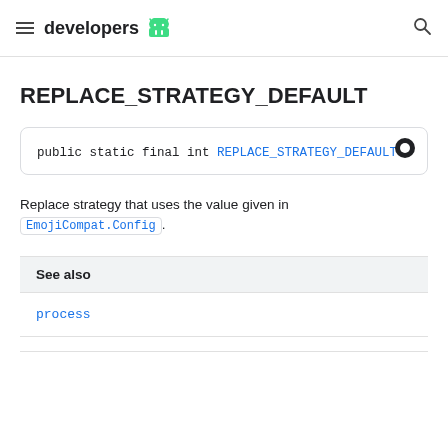developers
REPLACE_STRATEGY_DEFAULT
public static final int REPLACE_STRATEGY_DEFAULT
Replace strategy that uses the value given in EmojiCompat.Config.
See also
process